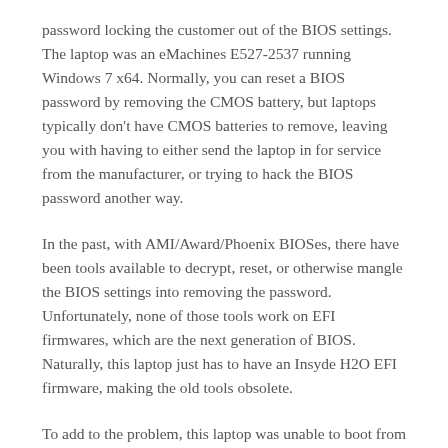password locking the customer out of the BIOS settings. The laptop was an eMachines E527-2537 running Windows 7 x64. Normally, you can reset a BIOS password by removing the CMOS battery, but laptops typically don't have CMOS batteries to remove, leaving you with having to either send the laptop in for service from the manufacturer, or trying to hack the BIOS password another way.
In the past, with AMI/Award/Phoenix BIOSes, there have been tools available to decrypt, reset, or otherwise mangle the BIOS settings into removing the password. Unfortunately, none of those tools work on EFI firmwares, which are the next generation of BIOS. Naturally, this laptop just has to have an Insyde H2O EFI firmware, making the old tools obsolete.
To add to the problem, this laptop was unable to boot from a CD because the boot option were hidden